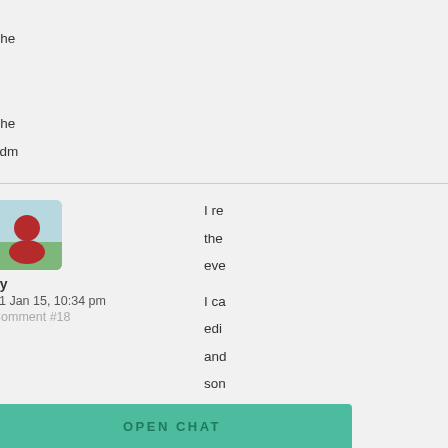The
The
adm
ijy
31 Jan 15, 10:34 pm
Comment #18
[Figure (illustration): User avatar icon showing a red figure on green/blue background]
I re
the
eve

I ca
edi
anc
son
ea
OPEN CHAT